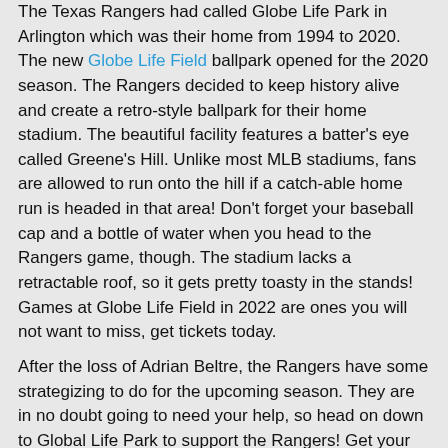The Texas Rangers had called Globe Life Park in Arlington which was their home from 1994 to 2020. The new Globe Life Field ballpark opened for the 2020 season. The Rangers decided to keep history alive and create a retro-style ballpark for their home stadium. The beautiful facility features a batter's eye called Greene's Hill. Unlike most MLB stadiums, fans are allowed to run onto the hill if a catch-able home run is headed in that area! Don't forget your baseball cap and a bottle of water when you head to the Rangers game, though. The stadium lacks a retractable roof, so it gets pretty toasty in the stands! Games at Globe Life Field in 2022 are ones you will not want to miss, get tickets today.
After the loss of Adrian Beltre, the Rangers have some strategizing to do for the upcoming season. They are in no doubt going to need your help, so head on down to Global Life Park to support the Rangers! Get your cheap tickets to the Texas Rangers 2022 season today!
Team Records
1974: Ferguson Jenkins - most complete games (29)
1978: Bump Wills - most stolen bases (52)
1980: Al Oliver - most games (163)
2002: Alex Rodriguez - most home runs (57)
2005: Michael Young - most hits (221)